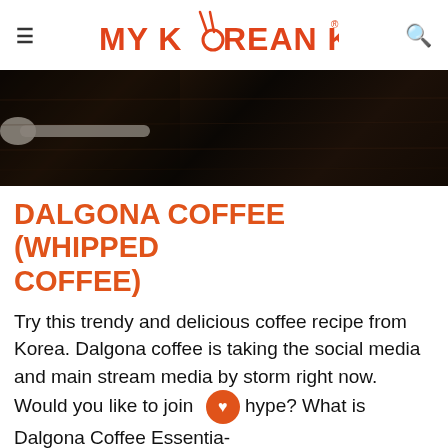MY KOREAN KITCHEN
[Figure (photo): Close-up dark photo of a spoon on a dark wooden surface, hero image for Dalgona Coffee recipe]
DALGONA COFFEE (WHIPPED COFFEE)
Try this trendy and delicious coffee recipe from Korea. Dalgona coffee is taking the social media and main stream media by storm right now. Would you like to join the hype? What is Dalgona Coffee Essentially dalgona coffee (달고나 커피) is whipped coffee.